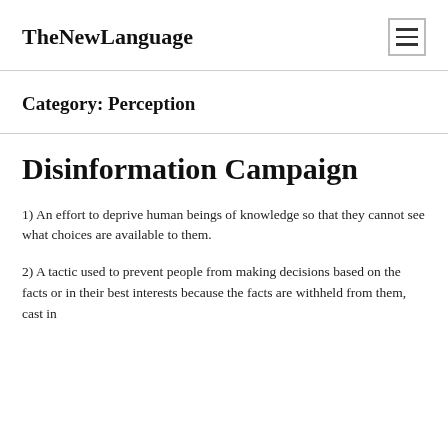TheNewLanguage
Category: Perception
Disinformation Campaign
1) An effort to deprive human beings of knowledge so that they cannot see what choices are available to them.
2) A tactic used to prevent people from making decisions based on the facts or in their best interests because the facts are withheld from them, cast in